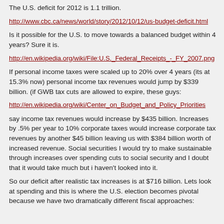The U.S. deficit for 2012 is 1.1 trillion.
http://www.cbc.ca/news/world/story/2012/10/12/us-budget-deficit.html
Is it possible for the U.S. to move towards a balanced budget within 4 years? Sure it is.
http://en.wikipedia.org/wiki/File:U.S._Federal_Receipts_-_FY_2007.png
If personal income taxes were scaled up to 20% over 4 years (its at 15.3% now) personal income tax revenues would jump by $339 billion. (if GWB tax cuts are allowed to expire, these guys:
http://en.wikipedia.org/wiki/Center_on_Budget_and_Policy_Priorities
say income tax revenues would increase by $435 billion. Increases by .5% per year to 10% corporate taxes would increase corporate tax revenues by another $45 billion leaving us with $384 billion worth of increased revenue. Social securities I would try to make sustainable through increases over spending cuts to social security and I doubt that it would take much but i haven't looked into it.
So our deficit after realistic tax increases is at $716 billion. Lets look at spending and this is where the U.S. election becomes pivotal because we have two dramatically different fiscal approaches: